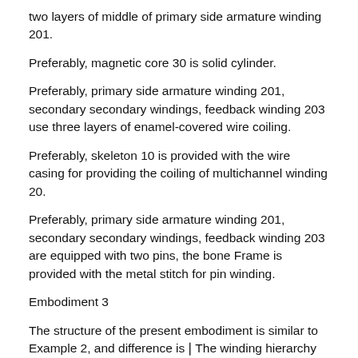two layers of middle of primary side armature winding 201.
Preferably, magnetic core 30 is solid cylinder.
Preferably, primary side armature winding 201, secondary secondary windings, feedback winding 203 use three layers of enamel-covered wire coiling.
Preferably, skeleton 10 is provided with the wire casing for providing the coiling of multichannel winding 20.
Preferably, primary side armature winding 201, secondary secondary windings, feedback winding 203 are equipped with two pins, the bone Frame is provided with the metal stitch for pin winding.
Embodiment 3
The structure of the present embodiment is similar to Example 2, and difference is❘The winding hierarchy of the present embodiment is different.
As shown in figure 3, secondary secondary windings include the first secondary secondary windings 2021, the second secondary secondary windings 2022, 3rd